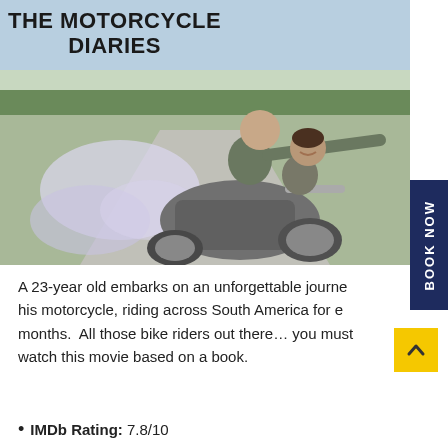[Figure (photo): Movie poster / still from 'The Motorcycle Diaries' showing two young men on a motorcycle on a rural road with fields and trees in background. The rider in front has arms outstretched, both are smiling. Title text 'THE MOTORCYCLE DIARIES' is overlaid in bold black on the upper left of the image.]
A 23-year old embarks on an unforgettable journey his motorcycle, riding across South America for e months. All those bike riders out there… you must watch this movie based on a book.
IMDb Rating: 7.8/10